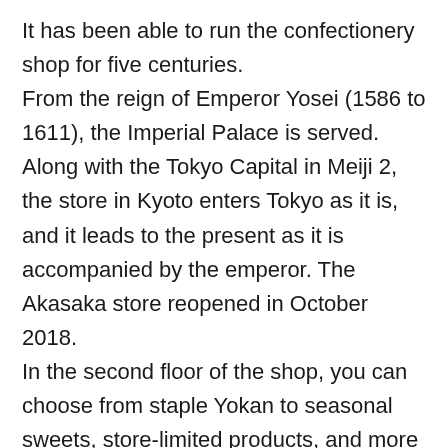It has been able to run the confectionery shop for five centuries. From the reign of Emperor Yosei (1586 to 1611), the Imperial Palace is served. Along with the Tokyo Capital in Meiji 2, the store in Kyoto enters Tokyo as it is, and it leads to the present as it is accompanied by the emperor. The Akasaka store reopened in October 2018. In the second floor of the shop, you can choose from staple Yokan to seasonal sweets, store-limited products, and more in a spacious store. In the third floor of the Toraya-Ka dormitory, we prepare a meal menu that uses the ingredients of Japanese sweets, such as sweet beans and tsukune IMO, made at the shop place in the store. There is also a gallery in the basement,